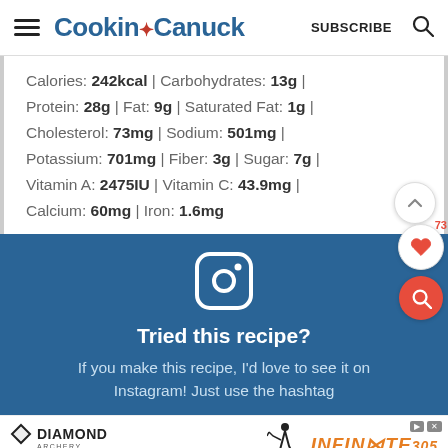Cookin Canuck | SUBSCRIBE
Calories: 242kcal | Carbohydrates: 13g | Protein: 28g | Fat: 9g | Saturated Fat: 1g | Cholesterol: 73mg | Sodium: 501mg | Potassium: 701mg | Fiber: 3g | Sugar: 7g | Vitamin A: 2475IU | Vitamin C: 43.9mg | Calcium: 60mg | Iron: 1.6mg
[Figure (infographic): Instagram icon and 'Tried this recipe?' call-to-action on blue background]
Tried this recipe?
If you make this recipe, I'd love to see it on Instagram! Just use the hashtag
[Figure (infographic): Diamond Archery advertisement banner with INFINIT305 text and Learn More button]